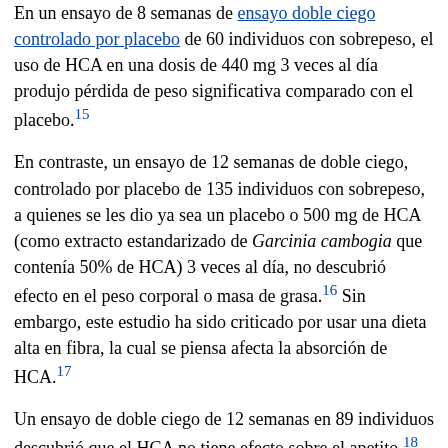En un ensayo de 8 semanas de ensayo doble ciego controlado por placebo de 60 individuos con sobrepeso, el uso de HCA en una dosis de 440 mg 3 veces al día produjo pérdida de peso significativa comparado con el placebo.[15]
En contraste, un ensayo de 12 semanas de doble ciego, controlado por placebo de 135 individuos con sobrepeso, a quienes se les dio ya sea un placebo o 500 mg de HCA (como extracto estandarizado de Garcinia cambogia que contenía 50% de HCA) 3 veces al día, no descubrió efecto en el peso corporal o masa de grasa.[16] Sin embargo, este estudio ha sido criticado por usar una dieta alta en fibra, la cual se piensa afecta la absorción de HCA.[17]
Un ensayo de doble ciego de 12 semanas en 89 individuos descubrió que el HCA no tiene efecto sobre el apetito.[18] Otro estudio evaluó el HCA para ver si este podía causar pérdida de peso al alterar el metabolismo, pero no se encontraron efectos sobre el metabolismo.[19]
Cuestiones de Seguridad
El Tamarindo Malabar (de donde se extrae el HCA) es un alimento tradicional y saborizante en el sureste de Asia. No se han reportado efectos secundarios serios en estudios en animales o humanos que